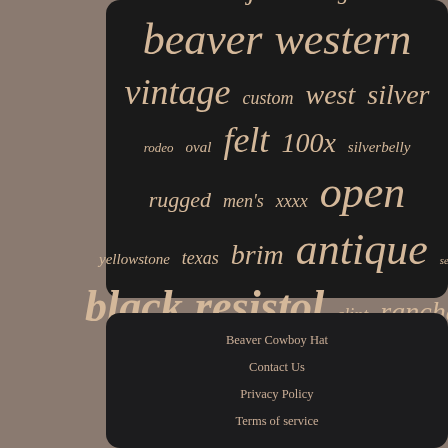[Figure (infographic): Tag cloud / word cloud on dark background showing cowboy hat related keywords in various sizes: road, size, john, long, eastwood, beaver, western, vintage, custom, west, silver, rodeo, oval, felt, 100x, silverbelly, rugged, men's, xxxx, open, yellowstone, texas, brim, antique, self, black, resistol, clint, rancher]
Beaver Cowboy Hat
Contact Us
Privacy Policy
Terms of service